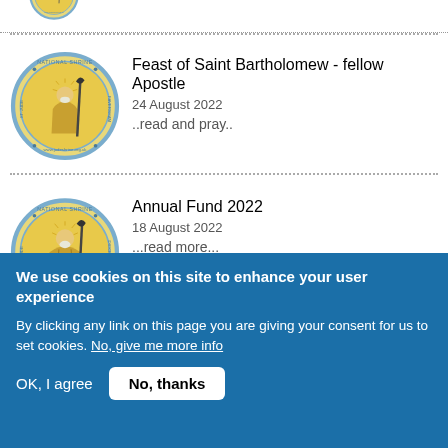[Figure (logo): National Shrine of St. Jude circular logo - partial/cropped at top]
[Figure (logo): National Shrine of St. Jude circular logo for Feast of Saint Bartholomew article]
Feast of Saint Bartholomew - fellow Apostle
24 August 2022
..read and pray..
[Figure (logo): National Shrine of St. Jude circular logo for Annual Fund 2022 article]
Annual Fund 2022
18 August 2022
...read more...
We use cookies on this site to enhance your user experience
By clicking any link on this page you are giving your consent for us to set cookies. No, give me more info
OK, I agree
No, thanks